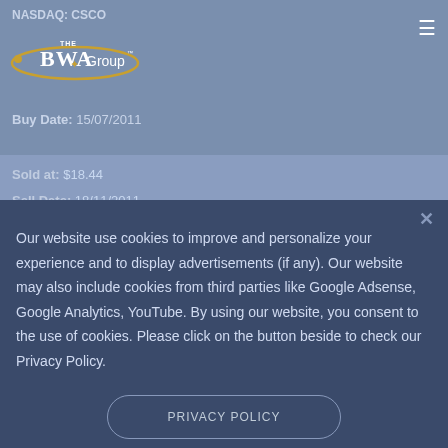NASDAQ: CSCO
[Figure (logo): THE PWA Group logo with orbital ring graphic]
Buy Date: 15/07/2011
Sold at: $18.44
Sell Date: 18/11/2011
Hold period: 126 days
Our website use cookies to improve and personalize your experience and to display advertisements (if any). Our website may also include cookies from third parties like Google Adsense, Google Analytics, YouTube. By using our website, you consent to the use of cookies. Please click on the button beside to check our Privacy Policy.
PRIVACY POLICY